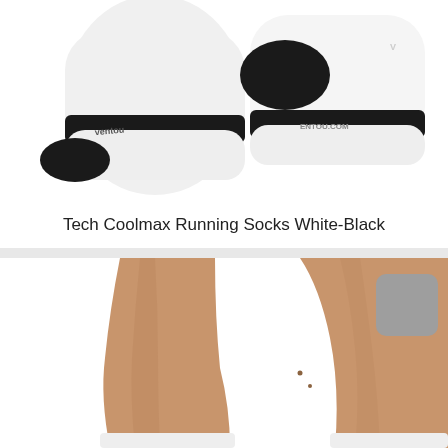[Figure (photo): Two white running socks with black toe, heel and ankle stripe trim, with 'ventou.com' text visible on the ankle band, photographed on a white background]
Tech Coolmax Running Socks White-Black
[Figure (photo): Close-up of human legs wearing white running socks, showing legs from knee down. A grey color swatch button is visible in the upper right corner of the product listing card.]